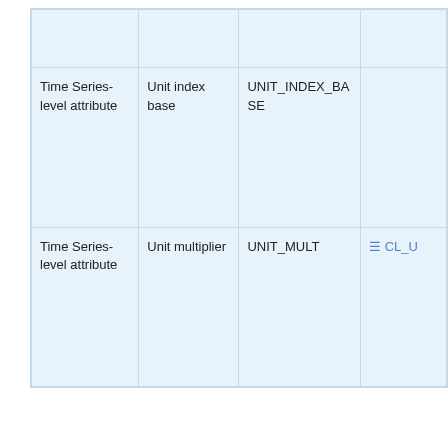|  |  |  |  |
| Time Series-level attribute | Unit index base | UNIT_INDEX_BASE |  |
| Time Series-level attribute | Unit multiplier | UNIT_MULT | ☰ CL_U |